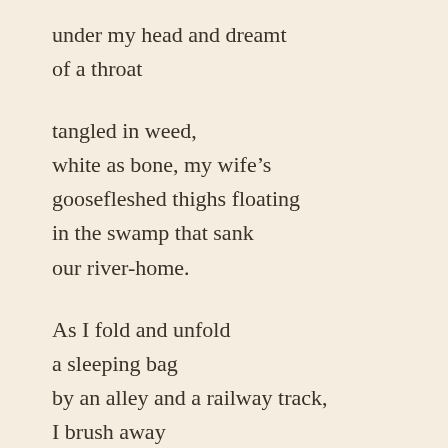under my head and dreamt
of a throat
tangled in weed,
white as bone, my wife's
goosefleshed thighs floating
in the swamp that sank
our river-home.
As I fold and unfold
a sleeping bag
by an alley and a railway track,
I brush away
the phantom of a man
drinking coffee and breaking bread
inside his daughter's home.